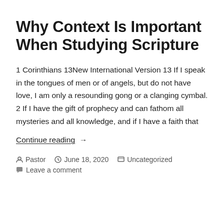Why Context Is Important When Studying Scripture
1 Corinthians 13New International Version 13 If I speak in the tongues of men or of angels, but do not have love, I am only a resounding gong or a clanging cymbal. 2 If I have the gift of prophecy and can fathom all mysteries and all knowledge, and if I have a faith that
Continue reading  →
Pastor  June 18, 2020  Uncategorized
Leave a comment